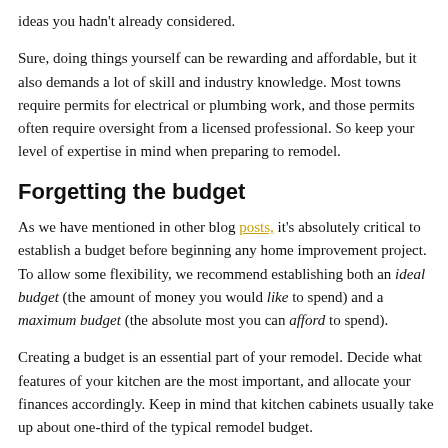ideas you hadn't already considered.
Sure, doing things yourself can be rewarding and affordable, but it also demands a lot of skill and industry knowledge. Most towns require permits for electrical or plumbing work, and those permits often require oversight from a licensed professional. So keep your level of expertise in mind when preparing to remodel.
Forgetting the budget
As we have mentioned in other blog posts, it's absolutely critical to establish a budget before beginning any home improvement project. To allow some flexibility, we recommend establishing both an ideal budget (the amount of money you would like to spend) and a maximum budget (the absolute most you can afford to spend).
Creating a budget is an essential part of your remodel. Decide what features of your kitchen are the most important, and allocate your finances accordingly. Keep in mind that kitchen cabinets usually take up about one-third of the typical remodel budget.